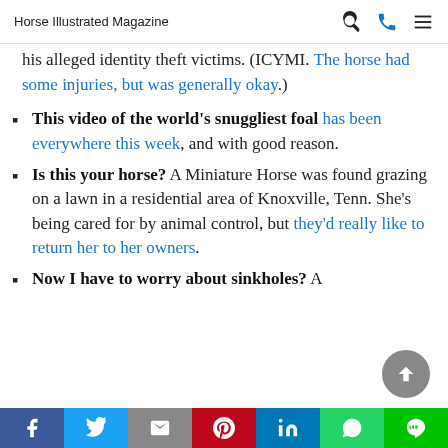Horse Illustrated Magazine
his alleged identity theft victims. (ICYMI. The horse had some injuries, but was generally okay.)
This video of the world's snuggliest foal has been everywhere this week, and with good reason.
Is this your horse? A Miniature Horse was found grazing on a lawn in a residential area of Knoxville, Tenn. She's being cared for by animal control, but they'd really like to return her to her owners.
Now I have to worry about sinkholes? A
Share buttons: Facebook, Twitter, Email, Pinterest, LinkedIn, WhatsApp, Line